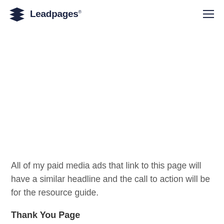Leadpages
All of my paid media ads that link to this page will have a similar headline and the call to action will be for the resource guide.
Thank You Page